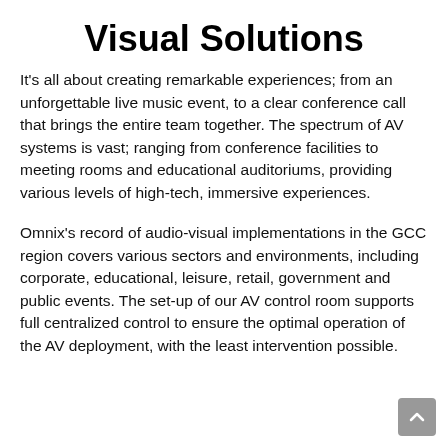Visual Solutions
It's all about creating remarkable experiences; from an unforgettable live music event, to a clear conference call that brings the entire team together. The spectrum of AV systems is vast; ranging from conference facilities to meeting rooms and educational auditoriums, providing various levels of high-tech, immersive experiences.
Omnix's record of audio-visual implementations in the GCC region covers various sectors and environments, including corporate, educational, leisure, retail, government and public events. The set-up of our AV control room supports full centralized control to ensure the optimal operation of the AV deployment, with the least intervention possible.